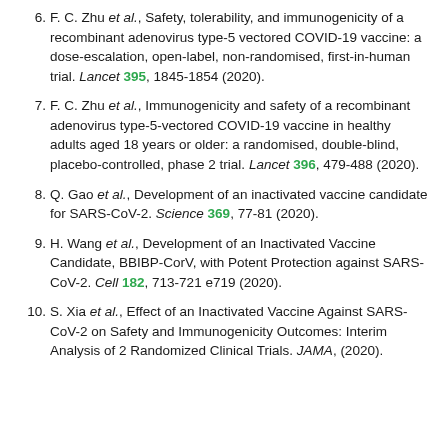F. C. Zhu et al., Safety, tolerability, and immunogenicity of a recombinant adenovirus type-5 vectored COVID-19 vaccine: a dose-escalation, open-label, non-randomised, first-in-human trial. Lancet 395, 1845-1854 (2020).
F. C. Zhu et al., Immunogenicity and safety of a recombinant adenovirus type-5-vectored COVID-19 vaccine in healthy adults aged 18 years or older: a randomised, double-blind, placebo-controlled, phase 2 trial. Lancet 396, 479-488 (2020).
Q. Gao et al., Development of an inactivated vaccine candidate for SARS-CoV-2. Science 369, 77-81 (2020).
H. Wang et al., Development of an Inactivated Vaccine Candidate, BBIBP-CorV, with Potent Protection against SARS-CoV-2. Cell 182, 713-721 e719 (2020).
S. Xia et al., Effect of an Inactivated Vaccine Against SARS-CoV-2 on Safety and Immunogenicity Outcomes: Interim Analysis of 2 Randomized Clinical Trials. JAMA, (2020).